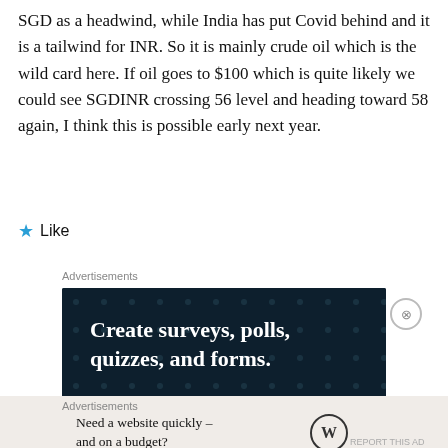SGD as a headwind, while India has put Covid behind and it is a tailwind for INR. So it is mainly crude oil which is the wild card here. If oil goes to $100 which is quite likely we could see SGDINR crossing 56 level and heading toward 58 again, I think this is possible early next year.
Like
Advertisements
[Figure (other): Advertisement banner with dark navy background and dot pattern. Text reads: Create surveys, polls, quizzes, and forms. Pink button at bottom.]
Advertisements
Need a website quickly – and on a budget?